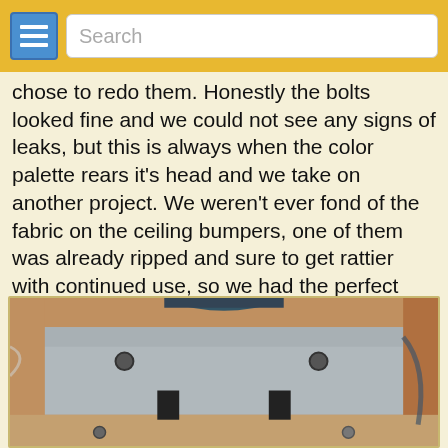Search
chose to redo them. Honestly the bolts looked fine and we could not see any signs of leaks, but this is always when the color palette rears it's head and we take on another project. We weren't ever fond of the fabric on the ceiling bumpers, one of them was already ripped and sure to get rattier with continued use, so we had the perfect excuse... er justification... to replace all of the Penthouse hardware. Also, after reading about some of the trouble other Sportsmobile owners have had with roof leaks, we feel it was a wise and precautionary course of action, so take that Bembridge scholars!
[Figure (photo): Interior ceiling view of a Sportsmobile van showing the penthouse roof hardware with bolts and mounting brackets visible]